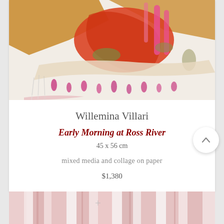[Figure (photo): Abstract mixed media and collage artwork showing warm earth tones, red and orange patches, pink strokes, green accents, and pinkish-magenta marks along the bottom edge on a light background.]
Willemina Villari
Early Morning at Ross River
45 x 56 cm
mixed media and collage on paper
$1,380
[Figure (photo): Bottom portion of another artwork with pink and rosy tones, showing vertical brushstrokes in soft pink and white with subtle reddish marks.]